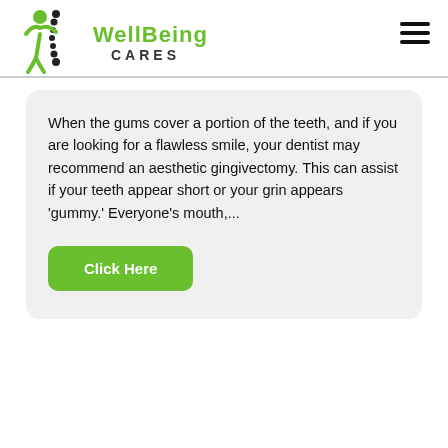[Figure (logo): WellBeing Cares logo with green figure and spine graphic on left, green text 'WellBeing Cares' on right]
When the gums cover a portion of the teeth, and if you are looking for a flawless smile, your dentist may recommend an aesthetic gingivectomy. This can assist if your teeth appear short or your grin appears 'gummy.' Everyone's mouth,...
Click Here